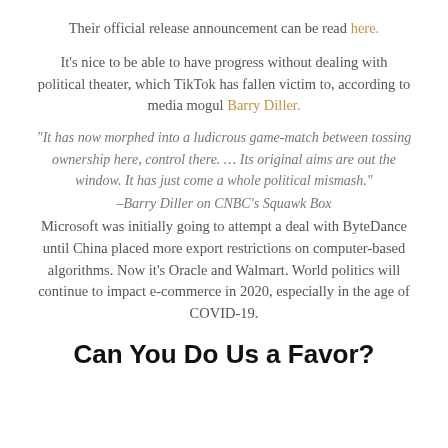Their official release announcement can be read here.
It's nice to be able to have progress without dealing with political theater, which TikTok has fallen victim to, according to media mogul Barry Diller.
“It has now morphed into a ludicrous game-match between tossing ownership here, control there. … Its original aims are out the window. It has just come a whole political mismash.”
–Barry Diller on CNBC’s Squawk Box
Microsoft was initially going to attempt a deal with ByteDance until China placed more export restrictions on computer-based algorithms. Now it’s Oracle and Walmart. World politics will continue to impact e-commerce in 2020, especially in the age of COVID-19.
Can You Do Us a Favor?